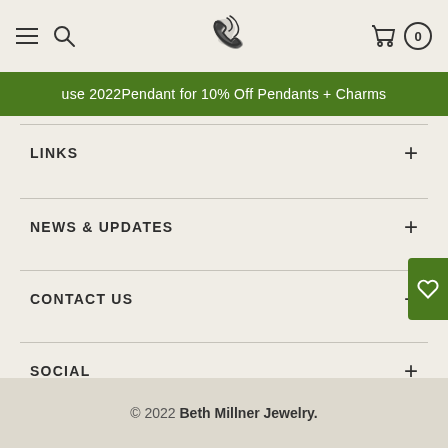Beth Millner Jewelry navigation header with menu, search, phone, cart icons
use 2022Pendant for 10% Off Pendants + Charms
LINKS
NEWS & UPDATES
CONTACT US
SOCIAL
[Figure (other): Social media icons row: Twitter, Facebook, YouTube, Pinterest, Instagram, Email — all in dark green]
© 2022 Beth Millner Jewelry.